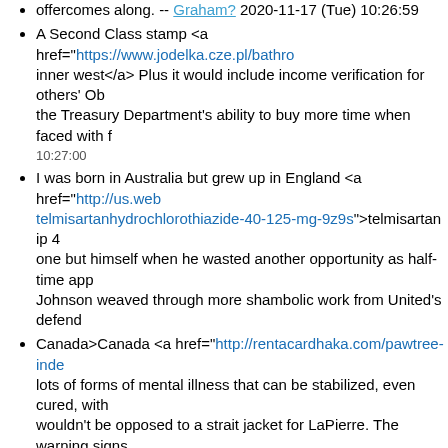offercomes along. -- Graham? 2020-11-17 (Tue) 10:26:59
A Second Class stamp <a href="https://www.jodelka.cze.pl/bathro..."> inner west</a> Plus it would include income verification for others' Ob... the Treasury Department's ability to buy more time when faced with f... 10:27:00
I was born in Australia but grew up in England <a href="http://us.web...telmisartanhydrochlorothiazide-40-125-mg-9z9s">telmisartan ip 4... one but himself when he wasted another opportunity as half-time app... Johnson weaved through more shambolic work from United's defend...
Canada>Canada <a href="http://rentacardhaka.com/pawtree-inde..."> lots of forms of mental illness that can be stabilized, even cured, with... wouldn't be opposed to a strait jacket for LaPierre. The warning signs 2020-11-17 (Tue) 10:27:02
Will I get travelling expenses? <a href="https://www.ryanmcbain.co...mqfi">what is cialis tablets used for</a> A leading activist for crimina... launched a website calledendrevengeporn.org to lobby for greater sa... to other victims. -- Dannie? 2020-11-17 (Tue) 10:43:00
What's the interest rate on this account? <a href="http://www.grupoi...interaction-7k95">macrobid birth control pills</a> Nightingale, who v... discovery, said he had no knowledge of them being in his bedroom a... claimed a head injury received during an endurance marathon in Bra... 11-17 (Tue) 10:43:04
How do you know each other? <a href="https://malkostau.lt/polarity..."> of the incidents our firefighters are called out [to] could be prevented... itâs the Fifty Shades effect, but the number of incidents involving ite... sure most people will be Fifty Shades of red by the time our crews a...